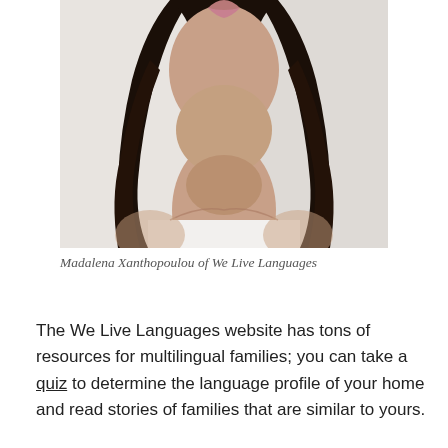[Figure (photo): Portrait photo of a woman with long dark hair wearing a white tank top, photographed against a light background. The image is cropped to show from the lips/chin area down to the chest/upper torso.]
Madalena Xanthopoulou of We Live Languages
The We Live Languages website has tons of resources for multilingual families; you can take a quiz to determine the language profile of your home and read stories of families that are similar to yours.